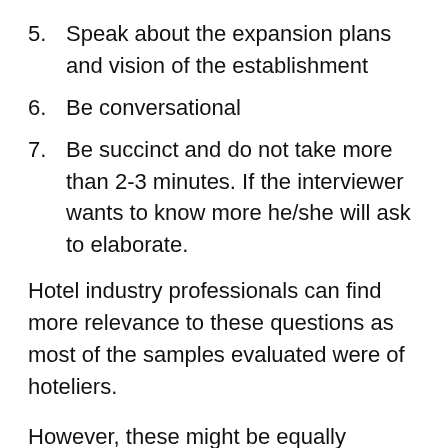5. Speak about the expansion plans and vision of the establishment
6. Be conversational
7. Be succinct and do not take more than 2-3 minutes. If the interviewer wants to know more he/she will ask to elaborate.
Hotel industry professionals can find more relevance to these questions as most of the samples evaluated were of hoteliers.
However, these might be equally relevant for any other hospitality industry professional from the non-hotel background